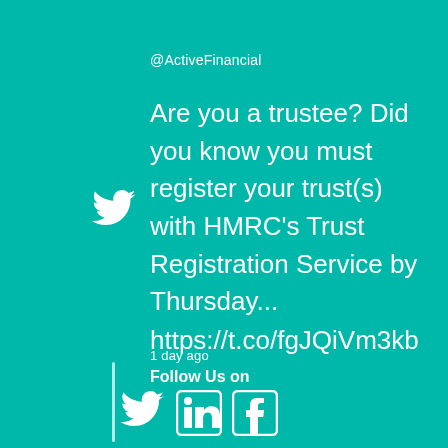@ActiveFinancial
Are you a trustee? Did you know you must register your trust(s) with HMRC's Trust Registration Service by Thursday... https://t.co/fgJQiVm3kb
1 day ago
Follow Us on
[Figure (infographic): Twitter bird icon, LinkedIn icon, and Facebook icon displayed as social media follow buttons]